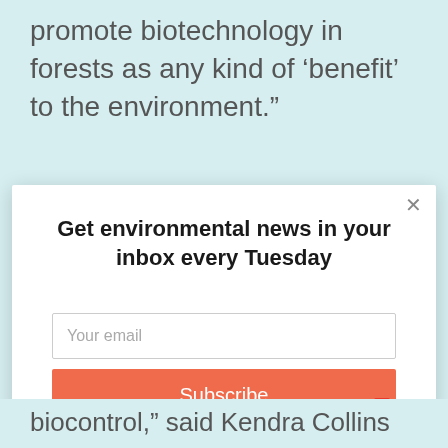promote biotechnology in forests as any kind of ‘benefit’ to the environment."
[Figure (screenshot): Newsletter signup modal overlay with title 'Get environmental news in your inbox every Tuesday', an email input field with placeholder 'Your email', and an orange 'Subscribe' button. A close (X) button is in the top right corner.]
biocontrol," said Kendra Collins